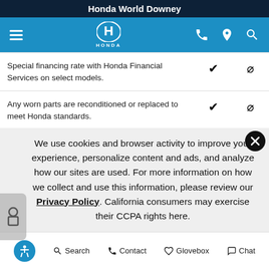Honda World Downey
[Figure (screenshot): Blue Honda navigation bar with hamburger menu, Honda logo, phone icon, location pin icon, and search icon]
| Feature | Check | Block |
| --- | --- | --- |
| Special financing rate with Honda Financial Services on select models. | ✔ | ⊘ |
| Any worn parts are reconditioned or replaced to meet Honda standards. | ✔ | ⊘ |
We use cookies and browser activity to improve your experience, personalize content and ads, and analyze how our sites are used. For more information on how we collect and use this information, please review our Privacy Policy. California consumers may exercise their CCPA rights here.
Search   Contact   Glovebox   Chat